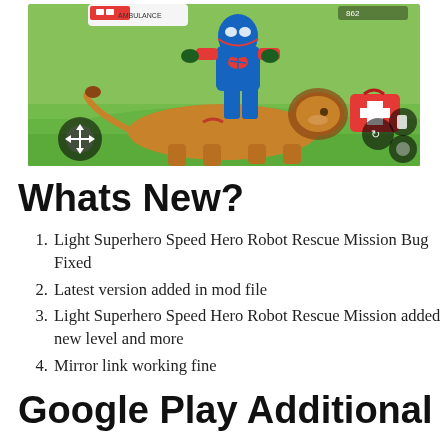[Figure (screenshot): Mobile game screenshot showing a superhero in blue and red suit riding/pinning a lion on green grass, with a first aid kit box visible on the right side, joystick control on lower left, and action buttons on lower right. An ambulance is partially visible at the top.]
Whats New?
Light Superhero Speed Hero Robot Rescue Mission Bug Fixed
Latest version added in mod file
Light Superhero Speed Hero Robot Rescue Mission added new level and more
Mirror link working fine
Google Play Additional